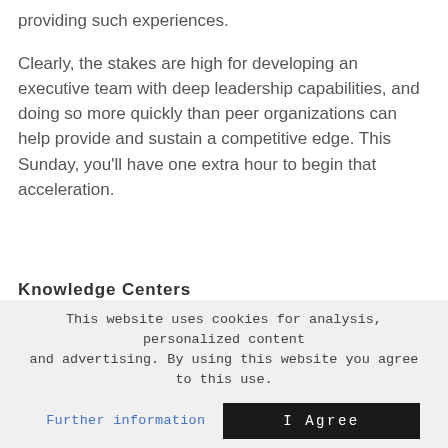providing such experiences.
Clearly, the stakes are high for developing an executive team with deep leadership capabilities, and doing so more quickly than peer organizations can help provide and sustain a competitive edge. This Sunday, you’ll have one extra hour to begin that acceleration.
Knowledge Centers
This website uses cookies for analysis, personalized content and advertising. By using this website you agree to this use.
Further information
I Agree